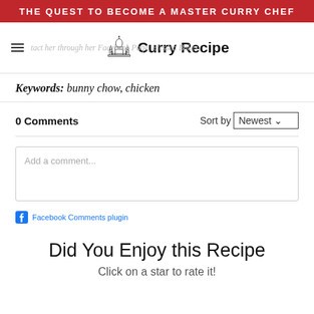THE QUEST TO BECOME A MASTER CURRY CHEF
contact her through her Facebook Page, Blessed Bakes.
Curry Recipe
Keywords: bunny chow, chicken
0 Comments
Sort by Newest
Add a comment...
Facebook Comments plugin
Did You Enjoy this Recipe
Click on a star to rate it!